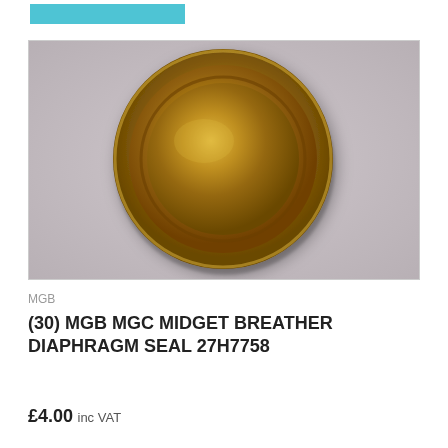[Figure (photo): A circular gold/brass coloured breather diaphragm seal (part 27H7758) photographed on a grey-pink surface background.]
MGB
(30) MGB MGC MIDGET BREATHER DIAPHRAGM SEAL 27H7758
£4.00 inc VAT